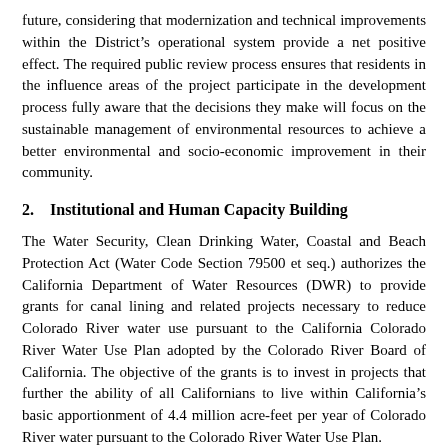future, considering that modernization and technical improvements within the District’s operational system provide a net positive effect. The required public review process ensures that residents in the influence areas of the project participate in the development process fully aware that the decisions they make will focus on the sustainable management of environmental resources to achieve a better environmental and socio-economic improvement in their community.
2.    Institutional and Human Capacity Building
The Water Security, Clean Drinking Water, Coastal and Beach Protection Act (Water Code Section 79500 et seq.) authorizes the California Department of Water Resources (DWR) to provide grants for canal lining and related projects necessary to reduce Colorado River water use pursuant to the California Colorado River Water Use Plan adopted by the Colorado River Board of California. The objective of the grants is to invest in projects that further the ability of all Californians to live within California’s basic apportionment of 4.4 million acre-feet per year of Colorado River water pursuant to the Colorado River Water Use Plan.
The Agricultural Water Conservation Program of the Safe Drinking Water, Clean Water, Watershed Protection and Flood Protection Act (Water Code Section 79157 et seq.) authorizes the California Department of Water Resources (DWR) to make loans to local